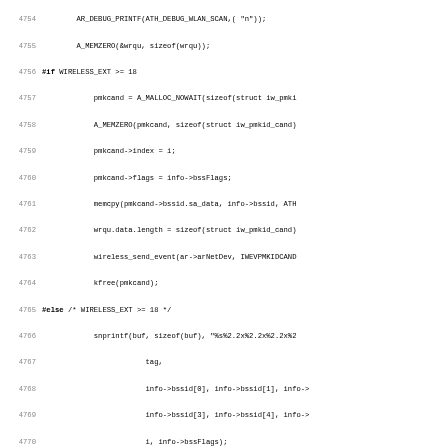Source code listing lines 4754-4786, C programming language, wireless driver code